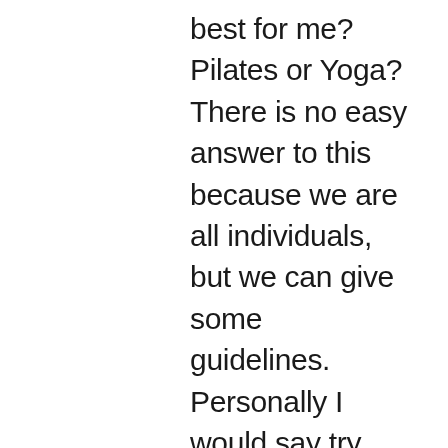best for me? Pilates or Yoga? There is no easy answer to this because we are all individuals, but we can give some guidelines. Personally I would say try both. I find the core strengthening of Pilates; the precision of correct spinal alignment and the mobilising and stabilising of muscles coupled with the slow stretching and mindful breathing of yoga very complementary to each other.    Both disciplines teach slow, controlled, flowing movements performed with thoughtful awareness. both disciplines work with the breath. Both advocate relaxation in the body. Pilates is all about paying particular attention to the right use of muscles, the way we align the body and mobilising the spine. Yoga essentially